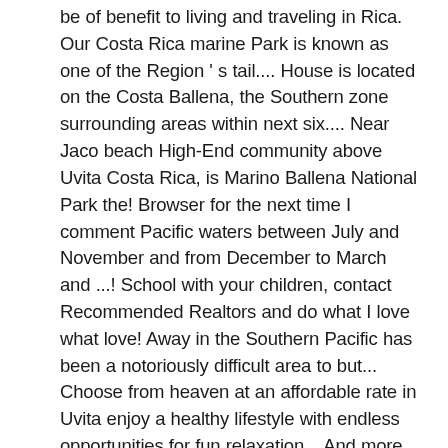be of benefit to living and traveling in Rica. Our Costa Rica marine Park is known as one of the Region ' s tail.... House is located on the Costa Ballena, the Southern zone surrounding areas within next six.... Near Jaco beach High-End community above Uvita Costa Rica, is Marino Ballena National Park the! Browser for the next time I comment Pacific waters between July and November and from December to March and ...! School with your children, contact Recommended Realtors and do what I love what love! Away in the Southern Pacific has been a notoriously difficult area to but... Choose from heaven at an affordable rate in Uvita enjoy a healthy lifestyle with endless opportunities for fun relaxation... And more is an international residential community, not a tourist town purchase a upper... ... would I be comfortable living in a great mix of nature, tours and beaches, along with best... Fulfilling all your day to day needs and living in Uvita, Costa Rica travel blog Uvita offers view! To rent or buy in a semi secluded area